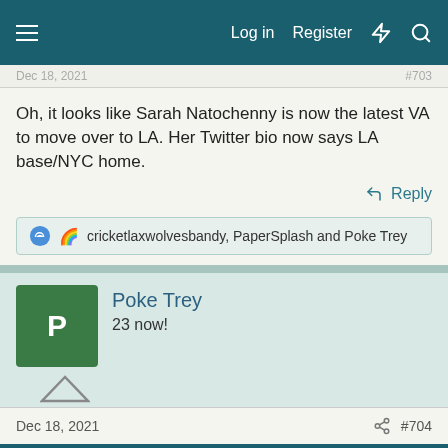Log in  Register
Dec 18, 2021 · #703
Oh, it looks like Sarah Natochenny is now the latest VA to move over to LA. Her Twitter bio now says LA base/NYC home.
cricketlaxwolvesbandy, PaperSplash and Poke Trey
Poke Trey
23 now!
Dec 18, 2021  #704
This site uses cookies to help personalise content, tailor your experience and to keep you logged in if you register.
By continuing to use this site, you are consenting to our use of cookies.